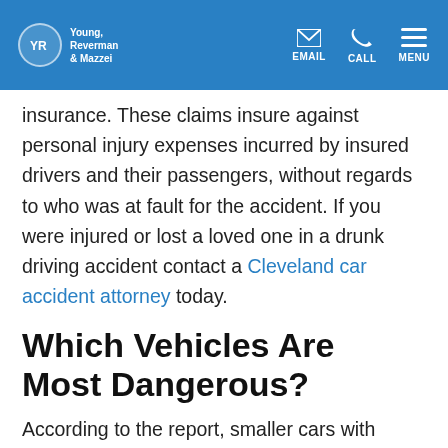Young, Reverman & Mazzei — EMAIL | CALL | MENU
insurance. These claims insure against personal injury expenses incurred by insured drivers and their passengers, without regards to who was at fault for the accident. If you were injured or lost a loved one in a drunk driving accident contact a Cleveland car accident attorney today.
Which Vehicles Are Most Dangerous?
According to the report, smaller cars with